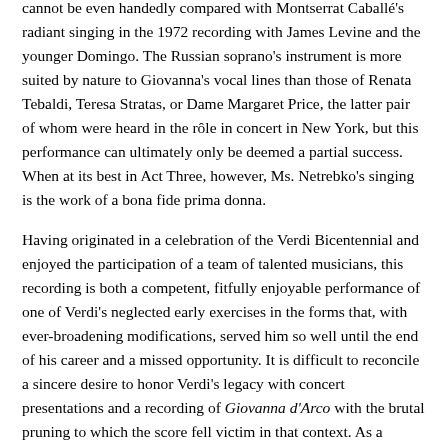cannot be even handedly compared with Montserrat Caballé's radiant singing in the 1972 recording with James Levine and the younger Domingo. The Russian soprano's instrument is more suited by nature to Giovanna's vocal lines than those of Renata Tebaldi, Teresa Stratas, or Dame Margaret Price, the latter pair of whom were heard in the rôle in concert in New York, but this performance can ultimately only be deemed a partial success. When at its best in Act Three, however, Ms. Netrebko's singing is the work of a bona fide prima donna.
Having originated in a celebration of the Verdi Bicentennial and enjoyed the participation of a team of talented musicians, this recording is both a competent, fitfully enjoyable performance of one of Verdi's neglected early exercises in the forms that, with ever-broadening modifications, served him so well until the end of his career and a missed opportunity. It is difficult to reconcile a sincere desire to honor Verdi's legacy with concert presentations and a recording of Giovanna d'Arco with the brutal pruning to which the score fell victim in that context. As a souvenir of Plácido Domingo's Giacomo, a rôle to which he is unlikely to return often if at all, this recording is a worthwhile addition to